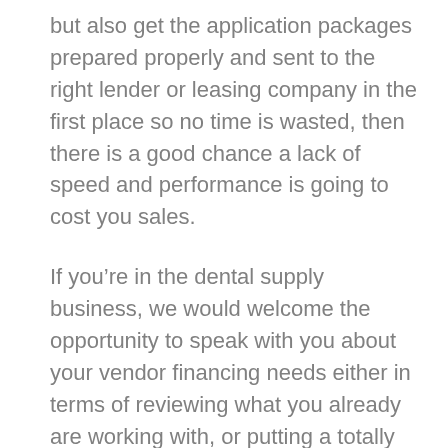but also get the application packages prepared properly and sent to the right lender or leasing company in the first place so no time is wasted, then there is a good chance a lack of speed and performance is going to cost you sales.
If you’re in the dental supply business, we would welcome the opportunity to speak with you about your vendor financing needs either in terms of reviewing what you already are working with, or putting a totally new program in place.